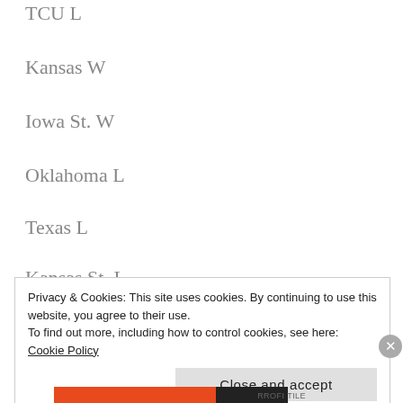TCU L
Kansas W
Iowa St. W
Oklahoma L
Texas L
Kansas St. L
Privacy & Cookies: This site uses cookies. By continuing to use this website, you agree to their use.
To find out more, including how to control cookies, see here: Cookie Policy
Close and accept